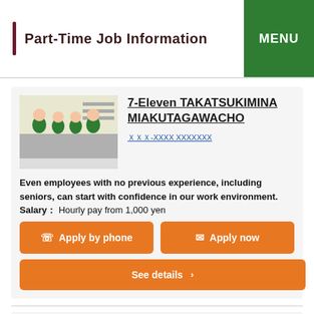Part-Time Job Information
7-Eleven TAKATSUKIMINA MIAKUTAGAWACHO
Even employees with no previous experience, including seniors, can start with confidence in our work environment. Salary： Hourly pay from 1,000 yen
Apply by phone
Apply now
See details
7-Eleven YAWATAGEN JIG